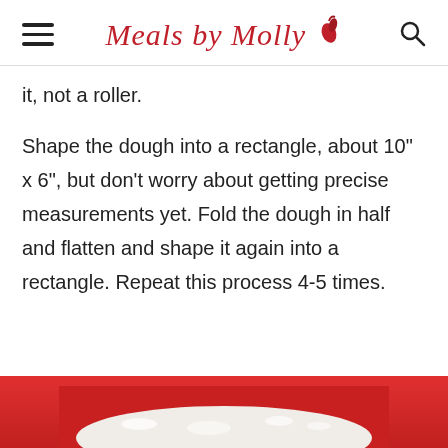Meals by Molly
it, not a roller.
Shape the dough into a rectangle, about 10" x 6", but don't worry about getting precise measurements yet. Fold the dough in half and flatten and shape it again into a rectangle. Repeat this process 4-5 times.
[Figure (photo): Photo of white dough being shaped on a red surface, partially visible at bottom of page.]